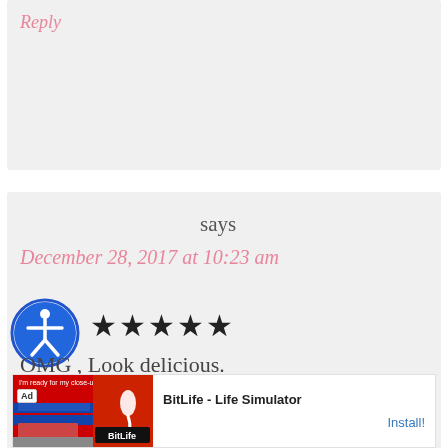Reply
says
December 28, 2017 at 10:23 am
[Figure (other): Accessibility icon - blue circle with white person figure inside]
★★★★★
OMG , Look delicious.
Reply
[Figure (other): Advertisement banner for BitLife - Life Simulator app showing Install button]